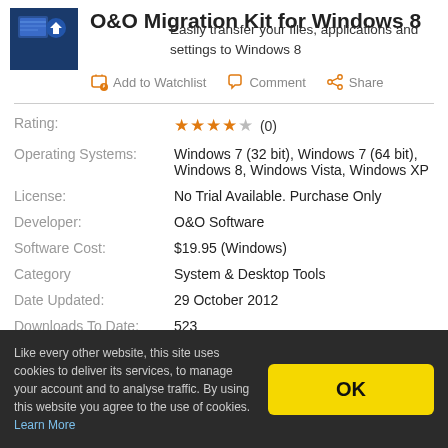O&O Migration Kit for Windows 8
Easily transfer your files, applications and settings to Windows 8
Add to Watchlist  Comment  Share
| Label | Value |
| --- | --- |
| Rating: | ★★★★☆ (0) |
| Operating Systems: | Windows 7 (32 bit), Windows 7 (64 bit), Windows 8, Windows Vista, Windows XP |
| License: | No Trial Available. Purchase Only |
| Developer: | O&O Software |
| Software Cost: | $19.95 (Windows) |
| Category | System & Desktop Tools |
| Date Updated: | 29 October 2012 |
| Downloads To Date: | 523 |
Like every other website, this site uses cookies to deliver its services, to manage your account and to analyse traffic. By using this website you agree to the use of cookies. Learn More